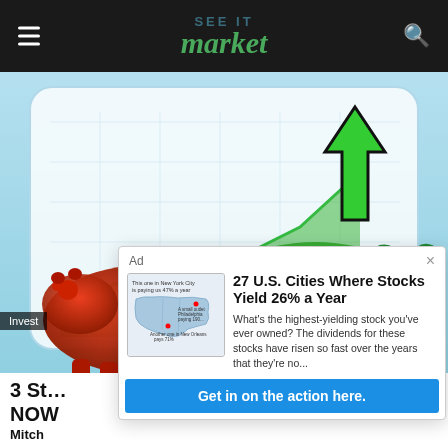SEE IT market
[Figure (illustration): Bull and bear market illustration: red bear on left, green bull with upward arrow chart on right, on light blue background]
Invest
3 St... NOW
Mitch
Ad
27 U.S. Cities Where Stocks Yield 26% a Year
What's the highest-yielding stock you've ever owned? The dividends for these stocks have risen so fast over the years that they're no...
Get in on the action here.